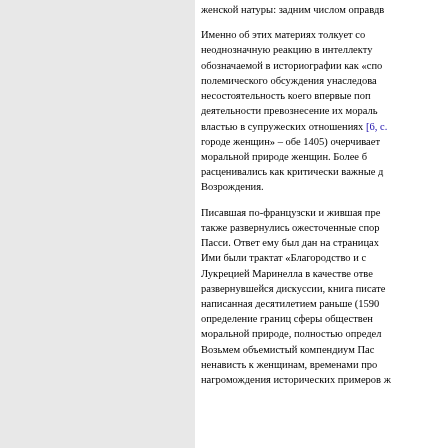женской натуры: задним числом оправдв... Именно об этих материях толкует со... неоднозначную реакцию в интеллекту... обозначаемой в историографии как «спо... полемического обсуждения унаследова... несостоятельность коего впервые поп... деятельности превознесение их мораль... властью в супружеских отношениях [6, с.... городе женщин» – обе 1405) очерчивает... моральной природе женщин. Более б... расценивались как критически важные д... Возрождения.
Писавшая по-французски и жившая пре... также развернулись ожесточенные спор... Пасси. Ответ ему был дан на страницах... Ими были трактат «Благородство и с... Лукрецией Маринелла в качестве отве... развернувшейся дискуссии, книга писате... написанная десятилетием раньше (1590... определение границ сферы обществен... моральной природе, полностью определ... Возьмем объемистый компендиум Пас... ненависть к женщинам, временами про... нагромождения исторических примеров ж...